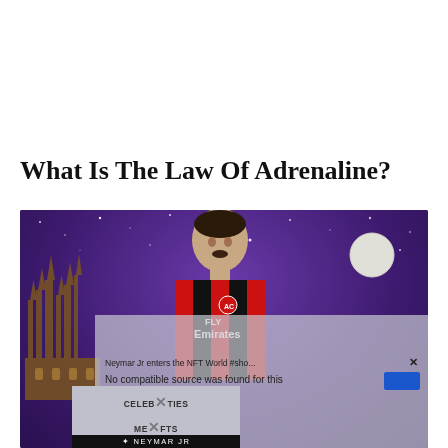What Is The Law Of Adrenaline?
[Figure (photo): A promotional image showing a footballer (wearing AC Milan Fly Emirates jersey) against a purple night sky background with stars and a cathedral silhouette, overlaid with a video error message reading 'Neymar Jr enters the NFT World #sho... No compatible source was found for this media.' and a partial NFT marketplace banner showing 'CELEBRITIES MERETS' and 'NEYMAR JR' text at the bottom.]